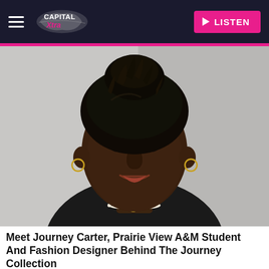Capital Xtra — LISTEN
[Figure (photo): Portrait of a young Black woman with locs pinned up, wearing a black top and pearl necklace with a pendant, smiling against a grey background]
Meet Journey Carter, Prairie View A&M Student And Fashion Designer Behind The Journey Collection
Blavity